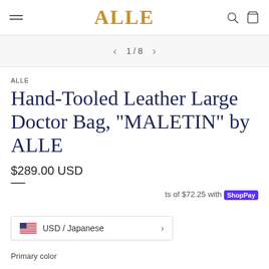ALLE
1 / 8
ALLE
Hand-Tooled Leather Large Doctor Bag, "MALETIN" by ALLE
$289.00 USD
ts of $72.25 with Shop Pay
USD / Japanese
Primary color